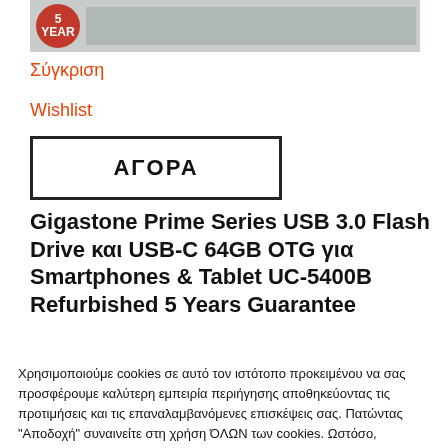[Figure (photo): Product image area with red 5-year guarantee badge and gray device silhouette]
Σύγκριση
Wishlist
ΑΓΟΡΑ
Gigastone Prime Series USB 3.0 Flash Drive και USB-C 64GB OTG για Smartphones & Tablet UC-5400B Refurbished 5 Years Guarantee
Χρησιμοποιούμε cookies σε αυτό τον ιστότοπο προκειμένου να σας προσφέρουμε καλύτερη εμπειρία περιήγησης αποθηκεύοντας τις προτιμήσεις και τις επαναλαμβανόμενες επισκέψεις σας. Πατώντας "Αποδοχή" συναινείτε στη χρήση ΌΛΩΝ των cookies. Ωστόσο, μπορείτε να μεταβείτε στην ενότητα Ρυθμίσεις εάν επιθυμείτε να έχετε περισσότερο έλεγχο της συναίνεσής σας.
Ρυθμίσεις
Αποδοχή Όλων